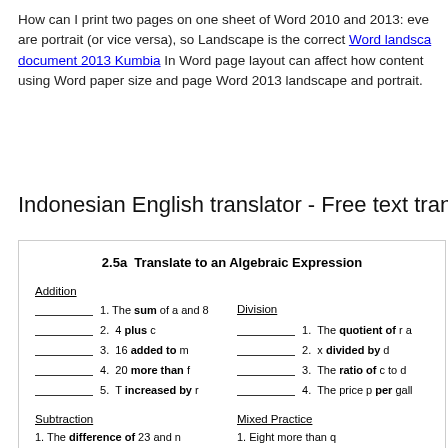How can I print two pages on one sheet of Word 2010 and 2013: eve are portrait (or vice versa), so Landscape is the correct Word landscape document 2013 Kumbia In Word page layout can affect how content using Word paper size and page Word 2013 landscape and portrait.
Indonesian English translator - Free text trans
2.5a  Translate to an Algebraic Expression
Addition
1. The sum of a and 8
2.  4 plus c
3.  16 added to m
4.  20 more than f
5.  T increased by r
Division
1.  The quotient of r a
2.  x divided by d
3.  The ratio of c to d
4.  The price p per gall
Subtraction
1. The difference of 23 and n
Mixed Practice
1. Eight more than q